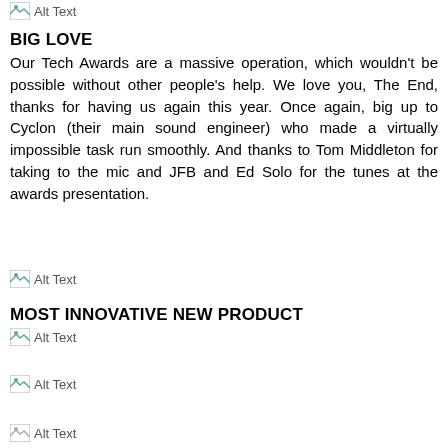[Figure (illustration): Broken image placeholder: Alt Text]
BIG LOVE
Our Tech Awards are a massive operation, which wouldn't be possible without other people's help. We love you, The End, thanks for having us again this year. Once again, big up to Cyclon (their main sound engineer) who made a virtually impossible task run smoothly. And thanks to Tom Middleton for taking to the mic and JFB and Ed Solo for the tunes at the awards presentation.
[Figure (illustration): Broken image placeholder: Alt Text]
MOST INNOVATIVE NEW PRODUCT
[Figure (illustration): Broken image placeholder: Alt Text]
[Figure (illustration): Broken image placeholder: Alt Text]
[Figure (illustration): Broken image placeholder: Alt Text]